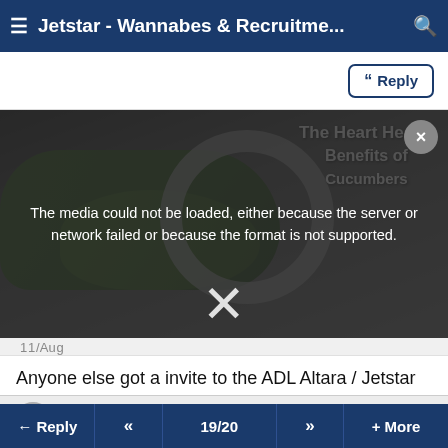≡ Jetstar - Wannabes & Recruitme... 🔍
[Figure (screenshot): Media playback error overlay over cucumber image with text: The media could not be loaded, either because the server or network failed or because the format is not supported. Background shows cucumbers with text 'The Heart Health Benefits of Cucumbers']
Anyone else got a invite to the ADL Altara / Jetstar assessment day on Tuesday ??!?!?!?!
#365 (permalink)
← Reply  «  19/20  »  + More